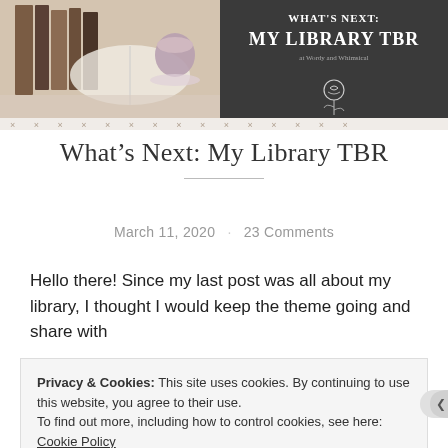[Figure (illustration): Blog post banner image showing an open book with decorative items on the left side (photo), and dark gray panel on the right with text 'WHAT'S NEXT: MY LIBRARY TBR at Wordy and Whimsical' and a rose illustration. Bottom has a row of x marks as a decorative border.]
What's Next: My Library TBR
March 11, 2020 · 23 Comments
Hello there! Since my last post was all about my library, I thought I would keep the theme going and share with
Privacy & Cookies: This site uses cookies. By continuing to use this website, you agree to their use.
To find out more, including how to control cookies, see here: Cookie Policy
Close and accept